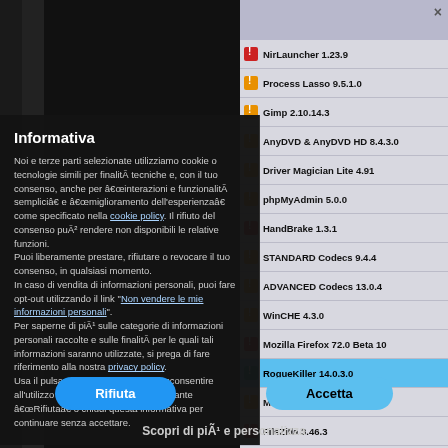[Figure (screenshot): Screenshot of a software update manager application showing a list of software items with red and orange warning icons, overlaid by a cookie consent dialog in Italian.]
Informativa
Noi e terze parti selezionate utilizziamo cookie o tecnologie simili per finalità tecniche e, con il tuo consenso, anche per â€œinterazioni e funzionalità sempliciâ€ e â€œmiglioramento dell'esperienzaâ€ come specificato nella cookie policy. Il rifiuto del consenso può rendere non disponibili le relative funzioni.
Puoi liberamente prestare, rifiutare o revocare il tuo consenso, in qualsiasi momento.
In caso di vendita di informazioni personali, puoi fare opt-out utilizzando il link "Non vendere le mie informazioni personali".
Per saperne di più sulle categorie di informazioni personali raccolte e sulle finalità per le quali tali informazioni saranno utilizzate, si prega di fare riferimento alla nostra privacy policy.
Usa il pulsante â€œAccettaâ€ per acconsentire all'utilizzo di tali tecnologie. Usa il pulsante â€œRifiutaâ€ o chiudi questa informativa per continuare senza accettare.
NirLauncher 1.23.9
Process Lasso 9.5.1.0
Gimp 2.10.14.3
AnyDVD & AnyDVD HD 8.4.3.0
Driver Magician Lite 4.91
phpMyAdmin 5.0.0
HandBrake 1.3.1
STANDARD Codecs 9.4.4
ADVANCED Codecs 13.0.4
WinCHE 4.3.0
Mozilla Firefox 72.0 Beta 10
RogueKiller 14.0.3.0
McAfee Stinger 12.1.0.3384
FileZilla 3.46.3
BurnInTest 9.1.1000
Rifiuta
Accetta
Scopri di più e personalizza